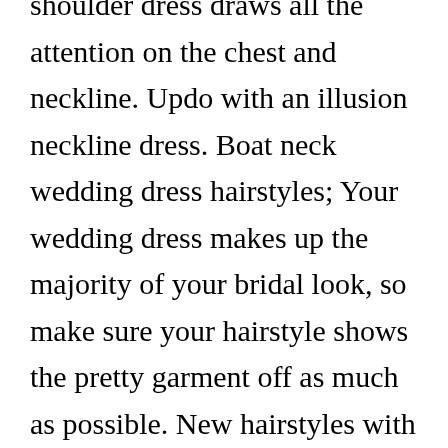shoulder dress draws all the attention on the chest and neckline. Updo with an illusion neckline dress. Boat neck wedding dress hairstyles; Your wedding dress makes up the majority of your bridal look, so make sure your hairstyle shows the pretty garment off as much as possible. New hairstyles with one shoulder dress ideas with pictures has 8 recommendations for wallpaper images including new hairstyles for one shoulder dresses ideas with pictures, new one shoulder dress hair on